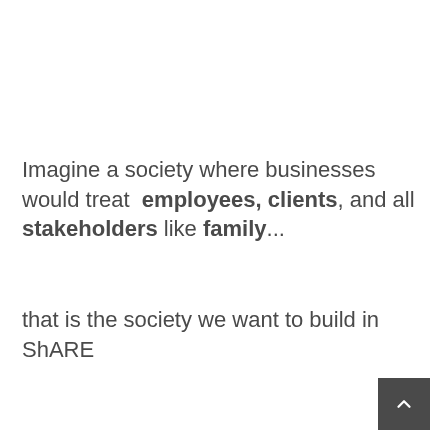Imagine a society where businesses would treat  employees, clients, and all stakeholders like family...
that is the society we want to build in ShARE